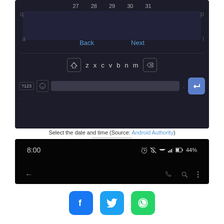[Figure (screenshot): Android keyboard screenshot showing calendar date row (27,28,29,30,31), Back and Next buttons, bottom keyboard row with z x c v b n m keys, and input bar with ?123, emoji, text field, and enter button.]
Select the date and time (Source: Android Authority)
[Figure (screenshot): Android status bar screenshot showing 8:00 time, alarm icon, mute icon, wifi, signal, battery 44%, and navigation bar with back arrow, phone, search, and menu icons.]
[Figure (other): Social share buttons: Facebook (blue), Twitter (light blue), WhatsApp (green)]